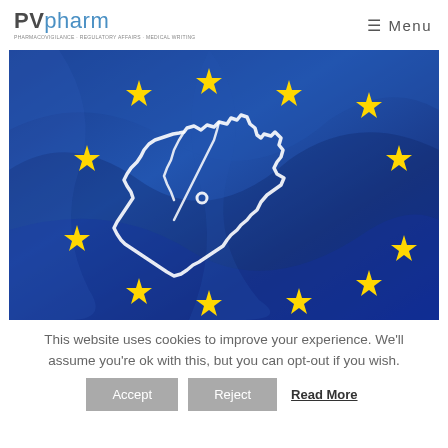PVpharm — Menu
[Figure (illustration): EU flag with golden stars on blue background and white outline of Europe map/continent in the center]
This website uses cookies to improve your experience. We'll assume you're ok with this, but you can opt-out if you wish.
Accept | Reject | Read More